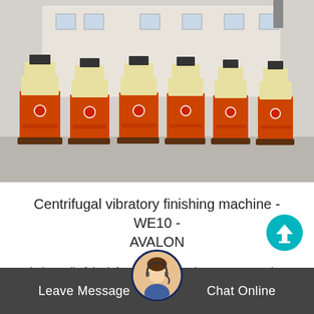[Figure (photo): Row of orange and cream/yellow centrifugal vibratory finishing machines lined up in a factory yard with a white building in the background]
Centrifugal vibratory finishing machine - WE10 - AVALON
Find out all of the information about the AVALON product: centrifugal vibratory finishing machine WE10. Contact a supplier or the parent company directly to..